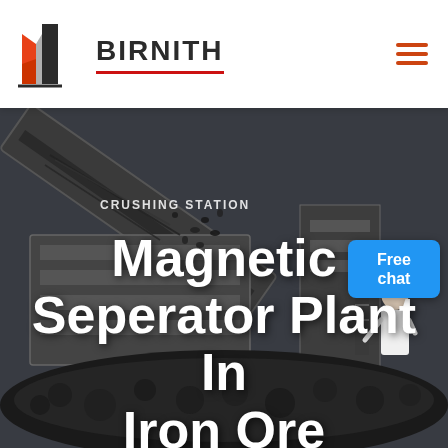BIRNITH
[Figure (photo): Industrial crushing station machinery with conveyor belts and aggregate materials at a mining/ore processing facility. Dark industrial equipment with rocks/ore visible in foreground and background.]
CRUSHING STATION
Magnetic Seperator Plant In Iron Ore Processing